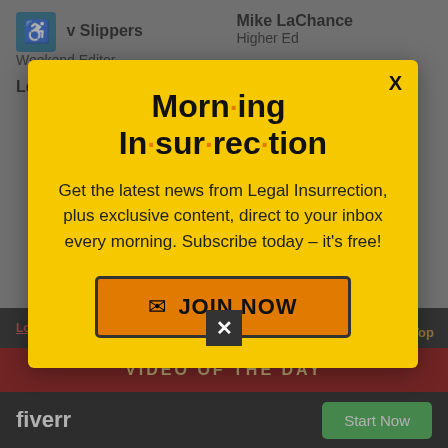♿ v Slippers — Weekend Editor
Mike LaChance — Higher Ed
Leslie Eastman
Vijeta Uniyal
[Figure (screenshot): Morning Insurrection newsletter signup modal popup with yellow background. Title reads 'Morn·ing In·sur·rec·tion' with orange dots as separators. Body text: 'Get the latest news from Legal Insurrection, plus exclusive content, direct to your inbox every morning. Subscribe today – it's free!' Orange 'JOIN NOW' button with envelope icon. X close button top right.]
Log in or register to comment
Back to Top
VIDEO OF THE DAY
fiverr — Start Now